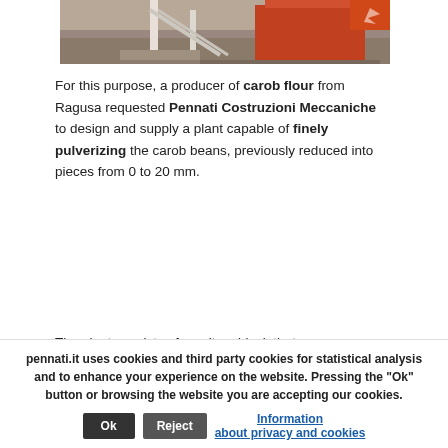[Figure (photo): Partial photo of industrial equipment/machinery in a workshop or factory setting, showing metal structures with orange/red colored components]
For this purpose, a producer of carob flour from Ragusa requested Pennati Costruzioni Meccaniche to design and supply a plant capable of finely pulverizing the carob beans, previously reduced into pieces from 0 to 20 mm.
The plant consists of a unitary block that
pennati.it uses cookies and third party cookies for statistical analysis and to enhance your experience on the website. Pressing the "Ok" button or browsing the website you are accepting our cookies.
Ok
Reject
Information about privacy and cookies